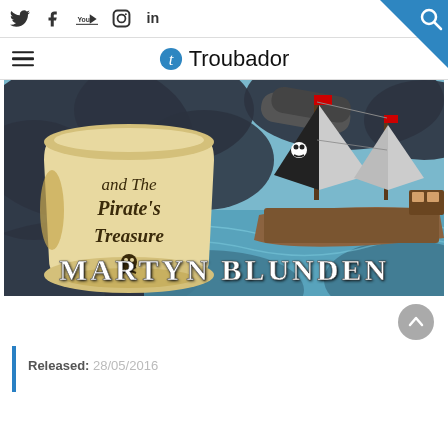Social icons: Twitter, Facebook, YouTube, Instagram, LinkedIn | Search button
[Figure (logo): Troubador logo with blue 't' icon and wordmark 'Troubador']
[Figure (illustration): Book cover illustration: 'and The Pirate's Treasure' by Martyn Blunden — shows a scroll with the title, a pirate ship on the sea, and dark clouds. Author name 'MARTYN BLUNDEN' at the bottom.]
Released: 28/05/2016